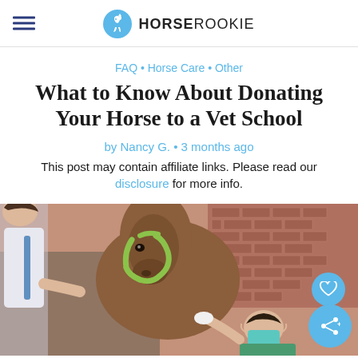HORSEROOKIE
FAQ • Horse Care • Other
What to Know About Donating Your Horse to a Vet School
by Nancy G. · 3 months ago
This post may contain affiliate links. Please read our disclosure for more info.
[Figure (photo): A woman and a masked veterinarian examining a brown horse in a stable with brick walls in the background. The horse is wearing a green halter.]